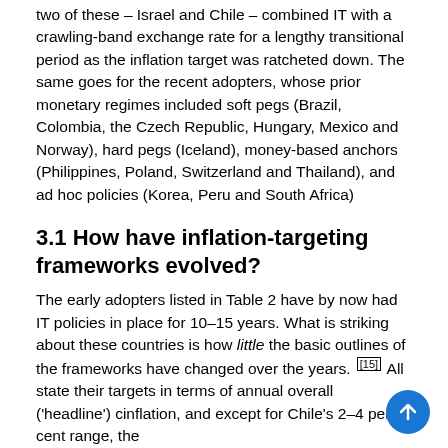two of these – Israel and Chile – combined IT with a crawling-band exchange rate for a lengthy transitional period as the inflation target was ratcheted down. The same goes for the recent adopters, whose prior monetary regimes included soft pegs (Brazil, Colombia, the Czech Republic, Hungary, Mexico and Norway), hard pegs (Iceland), money-based anchors (Philippines, Poland, Switzerland and Thailand), and ad hoc policies (Korea, Peru and South Africa)
3.1 How have inflation-targeting frameworks evolved?
The early adopters listed in Table 2 have by now had IT policies in place for 10–15 years. What is striking about these countries is how little the basic outlines of the frameworks have changed over the years. [15] All state their targets in terms of annual overall ('headline') consumer inflation, and except for Chile's 2–4 per cent range, the